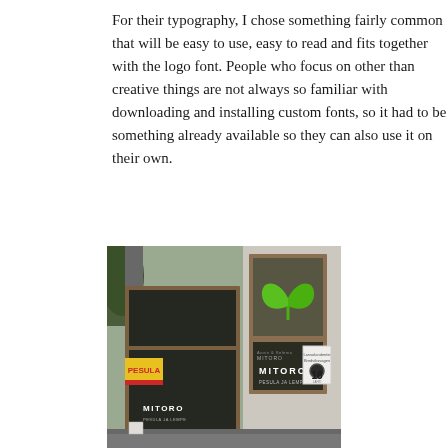For their typography, I chose something fairly common that will be easy to use, easy to read and fits together with the logo font. People who focus on other than creative things are not always so familiar with downloading and installing custom fonts, so it had to be something already available so they can also use it on their own.
[Figure (photo): Exterior photograph of a store/business called MITORO. The building facade is light beige/cream colored with large windows. The main window displays a green leaf/heart logo. A yellow PESULA sign is visible on the adjacent building to the left. The number 18 is displayed on a small sign on the right side of the facade. Plants are visible at the base of the building.]